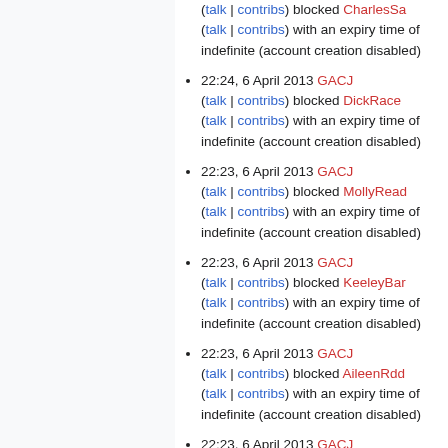(talk | contribs) blocked CharlesSa (talk | contribs) with an expiry time of indefinite (account creation disabled)
22:24, 6 April 2013 GACJ (talk | contribs) blocked DickRace (talk | contribs) with an expiry time of indefinite (account creation disabled)
22:23, 6 April 2013 GACJ (talk | contribs) blocked MollyRead (talk | contribs) with an expiry time of indefinite (account creation disabled)
22:23, 6 April 2013 GACJ (talk | contribs) blocked KeeleyBar (talk | contribs) with an expiry time of indefinite (account creation disabled)
22:23, 6 April 2013 GACJ (talk | contribs) blocked AileenRdd (talk | contribs) with an expiry time of indefinite (account creation disabled)
22:23, 6 April 2013 GACJ